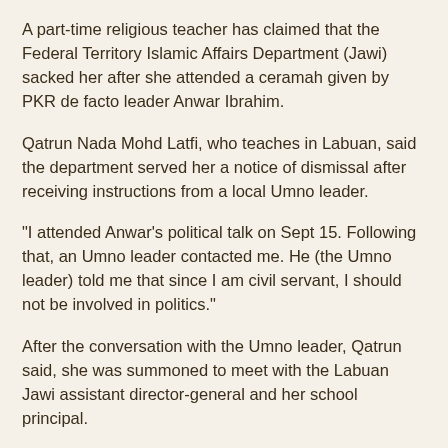A part-time religious teacher has claimed that the Federal Territory Islamic Affairs Department (Jawi) sacked her after she attended a ceramah given by PKR de facto leader Anwar Ibrahim.
Qatrun Nada Mohd Latfi, who teaches in Labuan, said the department served her a notice of dismissal after receiving instructions from a local Umno leader.
"I attended Anwar’s political talk on Sept 15. Following that, an Umno leader contacted me. He (the Umno leader) told me that since I am civil servant, I should not be involved in politics."
After the conversation with the Umno leader, Qatrun said, she was summoned to meet with the Labuan Jawi assistant director-general and her school principal.
"They wanted to know about my activities," she added.
According to her, there was no mention at the meeting about her attending the talk given by Anwar.